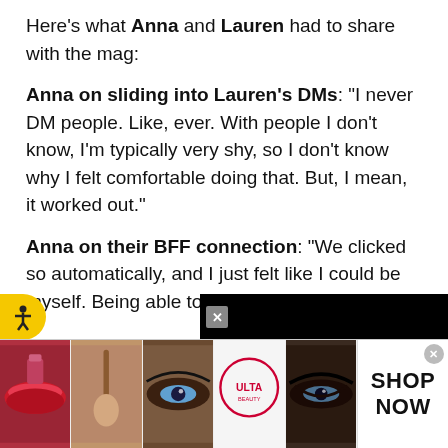Here's what Anna and Lauren had to share with the mag:
Anna on sliding into Lauren's DMs: "I never DM people. Like, ever. With people I don't know, I'm typically very shy, so I don't know why I felt comfortable doing that. But, I mean, it worked out."
Anna on their BFF connection: "We clicked so automatically, and I just felt like I could be myself. Being able to talk about r...
[Figure (other): Advertisement banner showing makeup product images (lips, brush, eye, Ulta logo, eye closeup) with SHOP NOW call to action and close buttons]